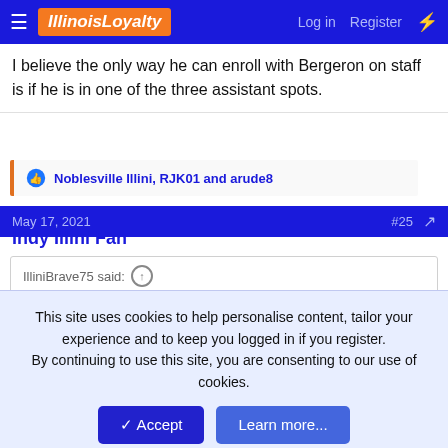IllinoisLoyalty — Log in Register
I believe the only way he can enroll with Bergeron on staff is if he is in one of the three assistant spots.
Noblesville Illini, RJK01 and arude8
May 17, 2021 #25
Indy Illini Fan
IlliniBrave75 said:
This site uses cookies to help personalise content, tailor your experience and to keep you logged in if you register.
By continuing to use this site, you are consenting to our use of cookies.
[Figure (photo): Person in white, partially visible, against yellow background with purple stars]